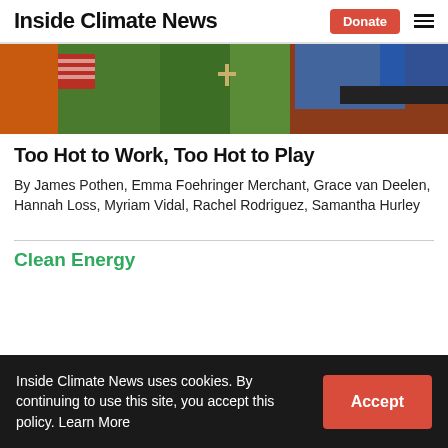Inside Climate News
[Figure (photo): Colorful clothing items or fabric in red, green, blue, and orange tones; a cross pendant visible]
Too Hot to Work, Too Hot to Play
By James Pothen, Emma Foehringer Merchant, Grace van Deelen, Hannah Loss, Myriam Vidal, Rachel Rodriguez, Samantha Hurley
Clean Energy
Inside Climate News uses cookies. By continuing to use this site, you accept this policy. Learn More